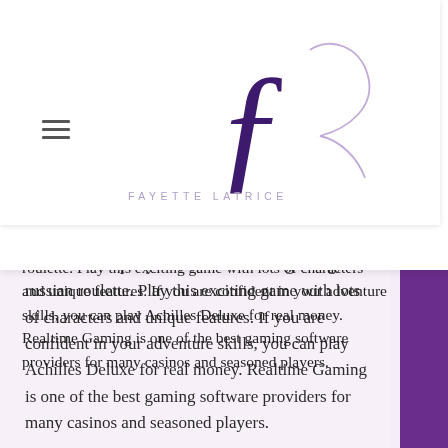[Figure (logo): Fayette Latrice script logo with stylized F and L lettering, text FAYETTE LATRICE below]
[Figure (illustration): Shopping bag icon with number 0 inside, purple color]
ized
Slot
f
es that would put you in the mood for gaming, win russian roulette. Play this exciting game with lots of characters and unique features. If you are confident in your adventure skills, you can play Achilles Deluxe for real money. Realtime Gaming is one of the best gaming software providers for many casinos and seasoned players.
Last week winners:
Genies Touch - 249.4 btc
Hansel & Gretel: Witch Hunters - 264.4 bch
Enchanted Meadow - 111.7 bch
Carnaval - 347.7 usdt
Lucky Halloween - 131.2 eth
Under the Bed - 631.6 eth